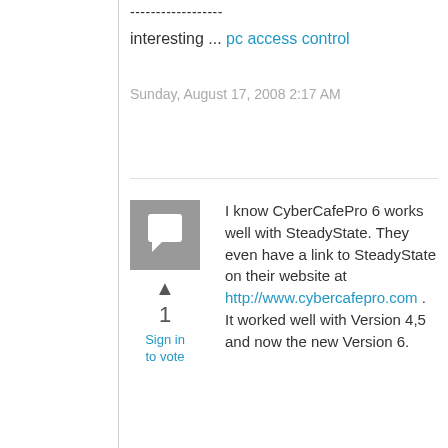------------------
interesting ... pc access control
Sunday, August 17, 2008 2:17 AM
[Figure (illustration): Grey square avatar/comment icon with speech bubble symbol]
1
Sign in to vote
I know CyberCafePro 6 works well with SteadyState.  They even have a link to SteadyState on their website at http://www.cybercafepro.com .  It worked well with Version 4,5 and now the new Version 6.